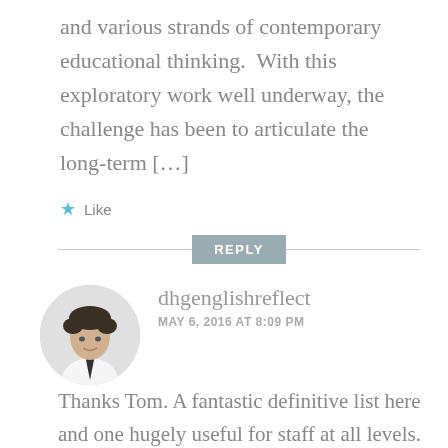and various strands of contemporary educational thinking.  With this exploratory work well underway, the challenge has been to articulate the long-term […]
★ Like
REPLY
[Figure (photo): Black and white circular portrait photo of a man with dark curly hair, wearing a white shirt and dark tie, smiling slightly.]
dhgenglishreflect
MAY 6, 2016 AT 8:09 PM
Thanks Tom. A fantastic definitive list here and one hugely useful for staff at all levels.